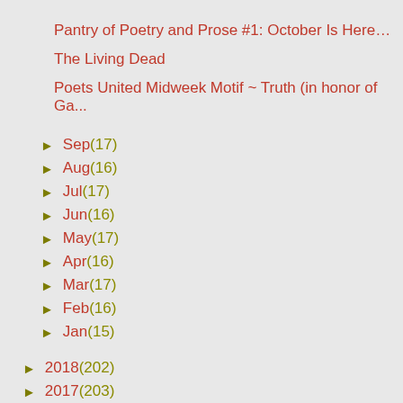Pantry of Poetry and Prose #1: October Is Here…
The Living Dead
Poets United Midweek Motif ~ Truth (in honor of Ga...
► Sep (17)
► Aug (16)
► Jul (17)
► Jun (16)
► May (17)
► Apr (16)
► Mar (17)
► Feb (16)
► Jan (15)
► 2018 (202)
► 2017 (203)